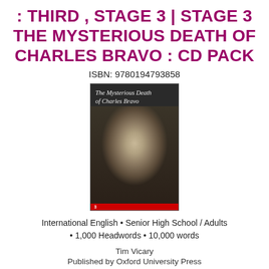: THIRD , STAGE 3 | STAGE 3 THE MYSTERIOUS DEATH OF CHARLES BRAVO : CD PACK
ISBN: 9780194793858
[Figure (photo): Book cover of 'The Mysterious Death of Charles Bravo' showing a Victorian-era man's portrait photograph in sepia/black-and-white tones, with title text at top and Oxford Bookworms branding.]
International English • Senior High School / Adults • 1,000 Headwords • 10,000 words
Tim Vicary
Published by Oxford University Press